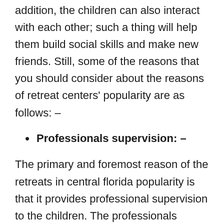addition, the children can also interact with each other; such a thing will help them build social skills and make new friends. Still, some of the reasons that you should consider about the reasons of retreat centers' popularity are as follows: –
Professionals supervision: –
The primary and foremost reason of the retreats in central florida popularity is that it provides professional supervision to the children. The professionals specialize in helping hundreds of children stay connected towards nature, education, and prayer. However, the specialized people also help the students get into the depth of